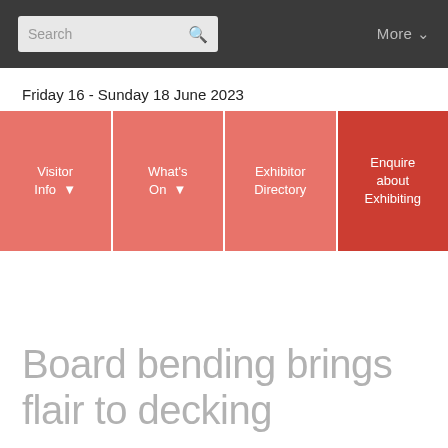Search  More ▾
Friday 16 - Sunday 18 June 2023
[Figure (screenshot): Navigation menu with four tiles: Visitor Info (dropdown), What's On (dropdown), Exhibitor Directory, Enquire about Exhibiting. Tiles are salmon/red coloured on white background.]
Board bending brings flair to decking